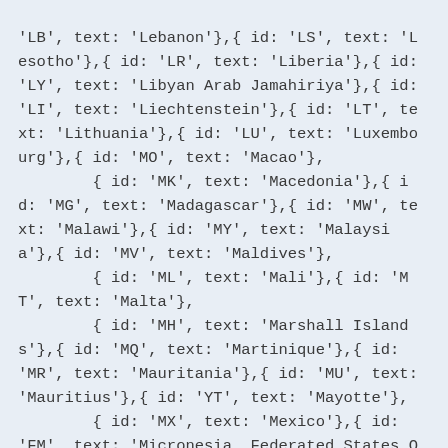'LB', text: 'Lebanon'},{ id: 'LS', text: 'Lesotho'},{ id: 'LR', text: 'Liberia'},{ id: 'LY', text: 'Libyan Arab Jamahiriya'},{ id: 'LI', text: 'Liechtenstein'},{ id: 'LT', text: 'Lithuania'},{ id: 'LU', text: 'Luxembourg'},{ id: 'MO', text: 'Macao'},
        { id: 'MK', text: 'Macedonia'},{ id: 'MG', text: 'Madagascar'},{ id: 'MW', text: 'Malawi'},{ id: 'MY', text: 'Malaysia'},{ id: 'MV', text: 'Maldives'},
        { id: 'ML', text: 'Mali'},{ id: 'MT', text: 'Malta'},
        { id: 'MH', text: 'Marshall Islands'},{ id: 'MQ', text: 'Martinique'},{ id: 'MR', text: 'Mauritania'},{ id: 'MU', text: 'Mauritius'},{ id: 'YT', text: 'Mayotte'},
        { id: 'MX', text: 'Mexico'},{ id: 'FM', text: 'Micronesia, Federated States Of'},{ id: 'MD', text: 'Moldova'},{ id: 'MC', text: 'Monaco'},{ id: 'MN', text: 'Mong